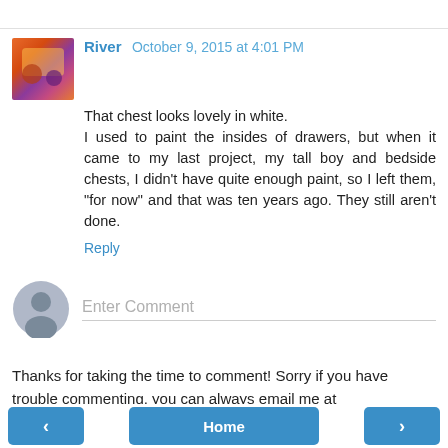River  October 9, 2015 at 4:01 PM
That chest looks lovely in white.
I used to paint the insides of drawers, but when it came to my last project, my tall boy and bedside chests, I didn't have quite enough paint, so I left them, "for now" and that was ten years ago. They still aren't done.
Reply
Enter Comment
Thanks for taking the time to comment! Sorry if you have trouble commenting, you can always email me at lilyfieldlife@bigpond.com
< Home >